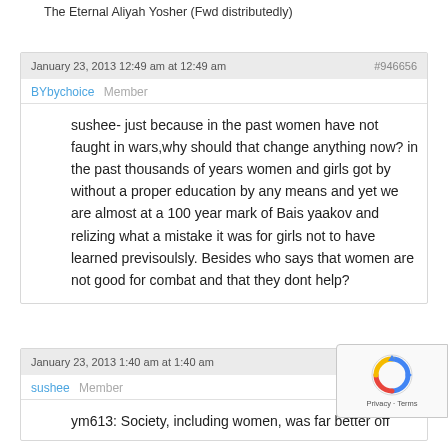The Eternal Aliyah Yosher (Fwd distributedly)
January 23, 2013 12:49 am at 12:49 am
#946656
BYbychoice  Member
sushee- just because in the past women have not faught in wars,why should that change anything now? in the past thousands of years women and girls got by without a proper education by any means and yet we are almost at a 100 year mark of Bais yaakov and relizing what a mistake it was for girls not to have learned previsoulsly. Besides who says that women are not good for combat and that they dont help?
January 23, 2013 1:40 am at 1:40 am
#946657
sushee  Member
ym613: Society, including women, was far better off